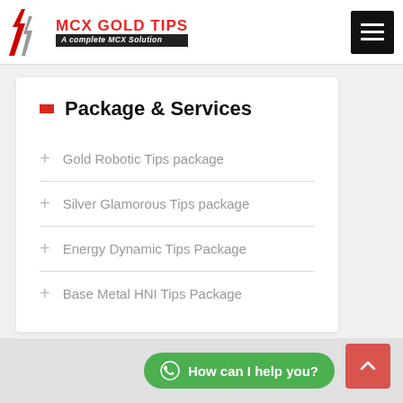MCX GOLD TIPS — A complete MCX Solution
Package & Services
+ Gold Robotic Tips package
+ Silver Glamorous Tips package
+ Energy Dynamic Tips Package
+ Base Metal HNI Tips Package
How can I help you?